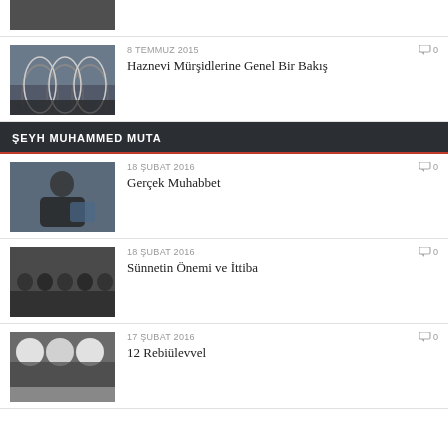[Figure (photo): Partial thumbnail of a mosque interior at top]
8 TEMMUZ 2015
0 comments
Haznevi Mürşidlerine Genel Bir Bakış
ŞEYH MUHAMMED MUTA
[Figure (photo): Man in dark robe sitting, praying]
18 ŞUBAT 2016
0 comments
Gerçek Muhabbet
[Figure (photo): Group of men praying in congregation]
18 ŞUBAT 2016
0 comments
Sünnetin Önemi ve İttiba
[Figure (photo): Men in white turbans at gathering]
17 ŞUBAT 2016
0 comments
12 Rebiülevvel